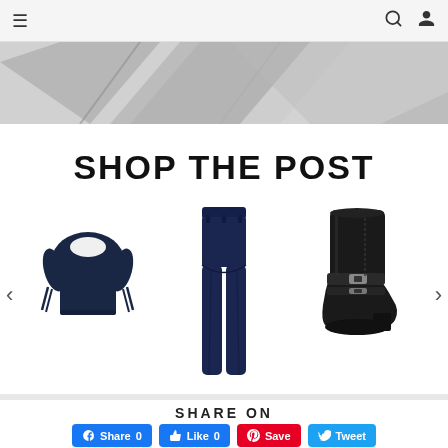≡  🔍  👤
[Figure (photo): Hero image: crumpled white/gray fabric or paper with dark diagonal shapes, abstract fashion editorial crop]
SHOP THE POST
[Figure (photo): Fashion product carousel showing three items: a navy off-shoulder top with tied sleeves, dark navy skinny jeans, and black leather ankle boots with buckle]
SHARE ON
Share 0   Like 0   Save   Tweet